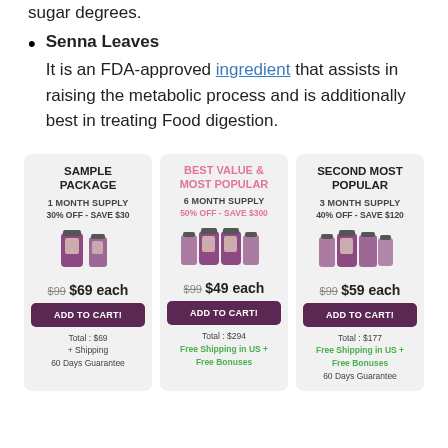sugar degrees.
Senna Leaves – It is an FDA-approved ingredient that assists in raising the metabolic process and is additionally best in treating Food digestion.
| SAMPLE PACKAGE | BEST VALUE & MOST POPULAR | SECOND MOST POPULAR |
| --- | --- | --- |
| 1 MONTH SUPPLY | 6 MONTH SUPPLY | 3 MONTH SUPPLY |
| 30% OFF - SAVE $30 | 50% OFF - SAVE $300 | 40% OFF - SAVE $120 |
| $99 $69 each | $99 $49 each | $99 $59 each |
| ADD TO CART! | ADD TO CART! | ADD TO CART! |
| Total : $69
+ Shipping
60 Days Guarantee | Total : $294
Free Shipping in US +
Free Bonuses | Total : $177
Free Shipping in US +
Free Bonuses
60 Days Guarantee |